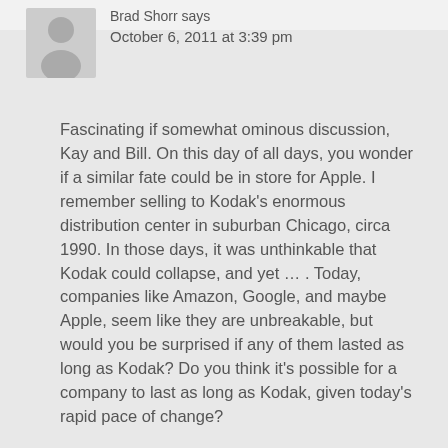Brad Shorr says
October 6, 2011 at 3:39 pm
Fascinating if somewhat ominous discussion, Kay and Bill. On this day of all days, you wonder if a similar fate could be in store for Apple. I remember selling to Kodak's enormous distribution center in suburban Chicago, circa 1990. In those days, it was unthinkable that Kodak could collapse, and yet … . Today, companies like Amazon, Google, and maybe Apple, seem like they are unbreakable, but would you be surprised if any of them lasted as long as Kodak? Do you think it's possible for a company to last as long as Kodak, given today's rapid pace of change?
Reply